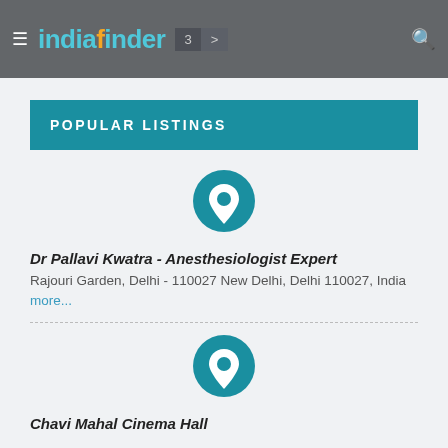indiafinder  3  >
POPULAR LISTINGS
[Figure (illustration): Teal circular location pin icon]
Dr Pallavi Kwatra - Anesthesiologist Expert
Rajouri Garden, Delhi - 110027 New Delhi, Delhi 110027, India more...
[Figure (illustration): Teal circular location pin icon]
Chavi Mahal Cinema Hall